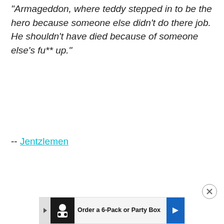"Armageddon, where teddy stepped in to be the hero because someone else didn't do there job. He shouldn't have died because of someone else's fu** up."
-- Jentzlemen
[Figure (other): Advertisement banner: Order a 6-Pack or Party Box with logo and navigation arrow]